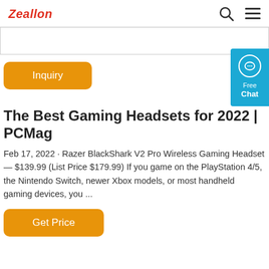Zeallon
[Figure (screenshot): Search bar input field]
[Figure (other): Orange Inquiry button]
[Figure (other): Blue Free Chat widget on right side]
The Best Gaming Headsets for 2022 | PCMag
Feb 17, 2022 · Razer BlackShark V2 Pro Wireless Gaming Headset — $139.99 (List Price $179.99) If you game on the PlayStation 4/5, the Nintendo Switch, newer Xbox models, or most handheld gaming devices, you ...
[Figure (other): Orange Get Price button]